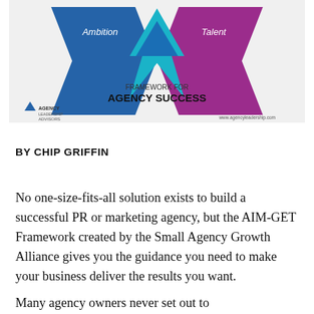[Figure (infographic): Framework for Agency Success diagram showing blue arrow labeled Ambition on left, teal/blue triangle in center, purple arrow labeled Talent on right. Logo for Agency Leadership Advisors in bottom left. Text reads FRAMEWORK FOR AGENCY SUCCESS. Website www.agencyleadership.com in bottom right.]
BY CHIP GRIFFIN
No one-size-fits-all solution exists to build a successful PR or marketing agency, but the AIM-GET Framework created by the Small Agency Growth Alliance gives you the guidance you need to make your business deliver the results you want.
Many agency owners never set out to